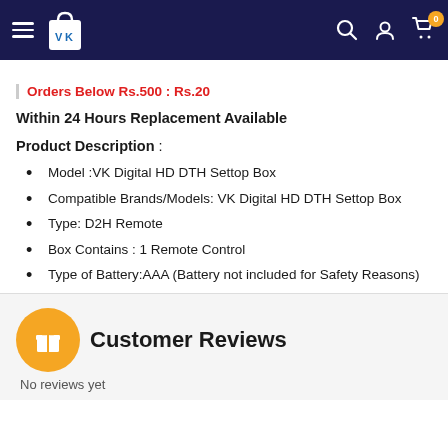[Figure (screenshot): E-commerce website header with dark navy background, hamburger menu, shopping bag logo with VK initials, search icon, user icon, and cart icon with orange badge showing 0]
Orders Below Rs.500 : Rs.20
Within 24 Hours Replacement Available
Product Description :
Model :VK Digital HD DTH Settop Box
Compatible Brands/Models: VK Digital HD DTH Settop Box
Type: D2H Remote
Box Contains : 1 Remote Control
Type of Battery:AAA (Battery not included for Safety Reasons)
Customer Reviews
No reviews yet